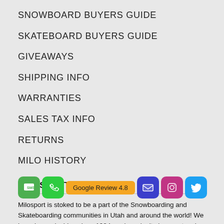SNOWBOARD BUYERS GUIDE
SKATEBOARD BUYERS GUIDE
GIVEAWAYS
SHIPPING INFO
WARRANTIES
SALES TAX INFO
RETURNS
MILO HISTORY
MILOSPORT
Milosport is stoked to be a part of the Snowboarding and Skateboarding communities in Utah and around the world! We have been slashing since 1984, and we don't plan on stopping anytime soon. Thanks for choosing us! Call or text us with questions at 801.487.8600, or stop by the Shop! And STAY STOKED!